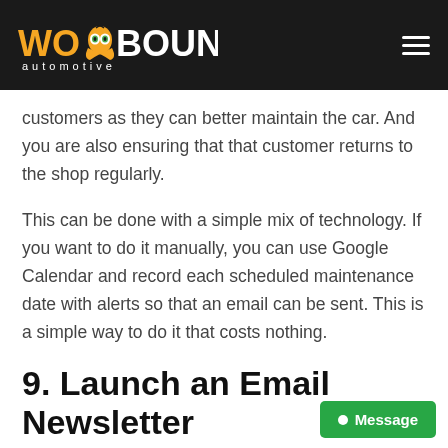WOOBOUND automotive
customers as they can better maintain the car. And you are also ensuring that that customer returns to the shop regularly.
This can be done with a simple mix of technology. If you want to do it manually, you can use Google Calendar and record each scheduled maintenance date with alerts so that an email can be sent. This is a simple way to do it that costs nothing.
9. Launch an Email Newsletter